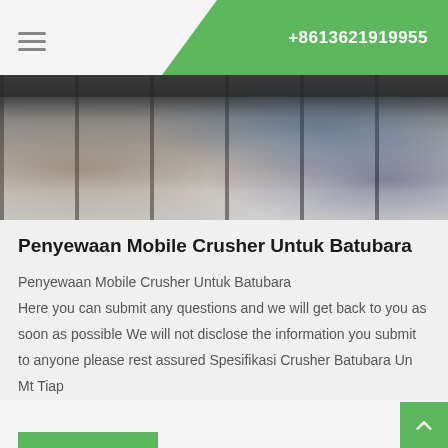+8613621919955
[Figure (photo): Industrial machinery photo, likely a mobile crusher or related heavy equipment, showing large cylindrical and metal components in an outdoor/industrial setting]
Penyewaan Mobile Crusher Untuk Batubara
Penyewaan Mobile Crusher Untuk Batubara Here you can submit any questions and we will get back to you as soon as possible We will not disclose the information you submit to anyone please rest assured Spesifikasi Crusher Batubara Un Mt Tiap